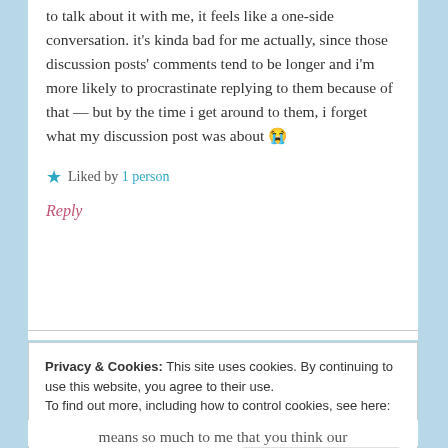to talk about it with me, it feels like a one-side conversation. it's kinda bad for me actually, since those discussion posts' comments tend to be longer and i'm more likely to procrastinate replying to them because of that — but by the time i get around to them, i forget what my discussion post was about 😭
★ Liked by 1 person
Reply
Privacy & Cookies: This site uses cookies. By continuing to use this website, you agree to their use. To find out more, including how to control cookies, see here: Cookie Policy
Close and accept
means so much to me that you think our